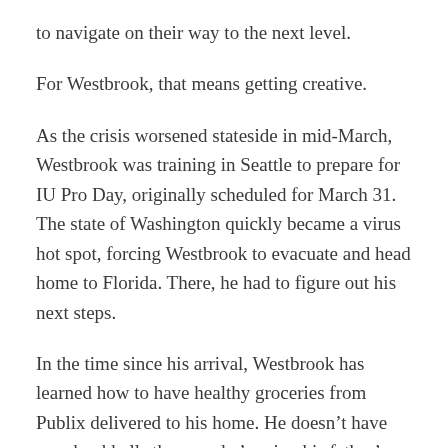to navigate on their way to the next level.
For Westbrook, that means getting creative.
As the crisis worsened stateside in mid-March, Westbrook was training in Seattle to prepare for IU Pro Day, originally scheduled for March 31. The state of Washington quickly became a virus hot spot, forcing Westbrook to evacuate and head home to Florida. There, he had to figure out his next steps.
In the time since his arrival, Westbrook has learned how to have healthy groceries from Publix delivered to his home. He doesn't have any dumbbells there, so he's using his father's photography counterweights to get in his lifts. None of it is ideal, but Westbrook's goal of latching on with an NFL team is within reach, and he's doing